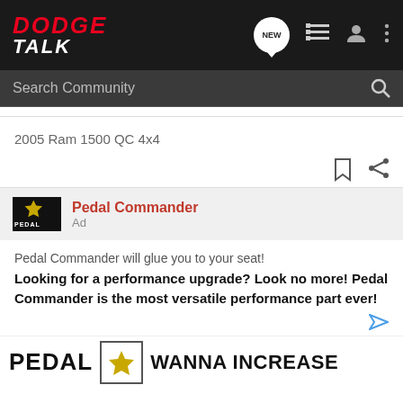DODGE TALK
Search Community
2005 Ram 1500 QC 4x4
Pedal Commander
Ad
Pedal Commander will glue you to your seat!
Looking for a performance upgrade? Look no more! Pedal Commander is the most versatile performance part ever!
[Figure (logo): Pedal Commander logo with star and PEDAL text, WANNA INCREASE text banner]